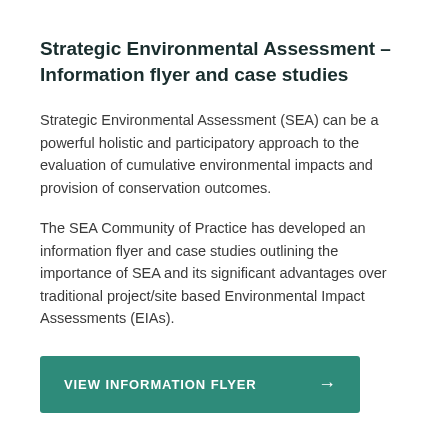Strategic Environmental Assessment – Information flyer and case studies
Strategic Environmental Assessment (SEA) can be a powerful holistic and participatory approach to the evaluation of cumulative environmental impacts and provision of conservation outcomes.
The SEA Community of Practice has developed an information flyer and case studies outlining the importance of SEA and its significant advantages over traditional project/site based Environmental Impact Assessments (EIAs).
VIEW INFORMATION FLYER →